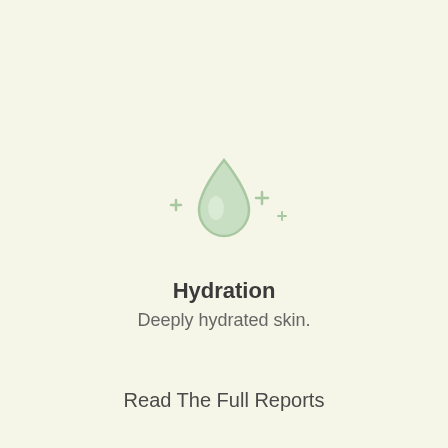[Figure (illustration): A green water droplet icon with sparkle/plus signs on either side, centered on a light cream background]
Hydration
Deeply hydrated skin.
Read The Full Reports